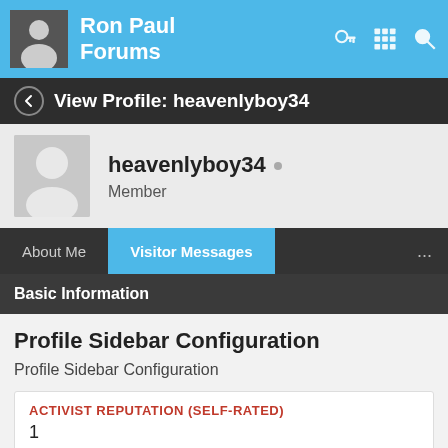Ron Paul Forums
View Profile: heavenlyboy34
heavenlyboy34 ° Member
About Me | Visitor Messages | ...
Basic Information
Profile Sidebar Configuration
Profile Sidebar Configuration
ACTIVIST REPUTATION (SELF-RATED)
1